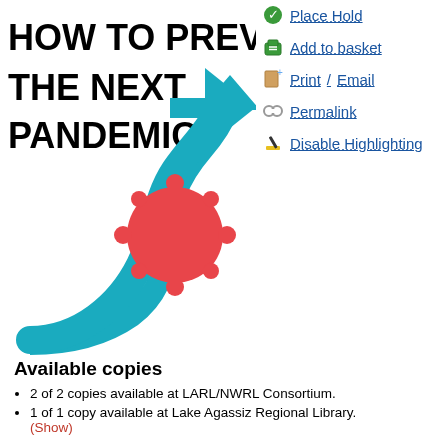[Figure (illustration): Book cover for 'How to Prevent the Next Pandemic' showing large bold black text on white background with a teal upward-curving arrow and a red coronavirus icon graphic.]
Place Hold
Add to basket
Print / Email
Permalink
Disable Highlighting
Available copies
2 of 2 copies available at LARL/NWRL Consortium.
1 of 1 copy available at Lake Agassiz Regional Library. (Show)
Current holds